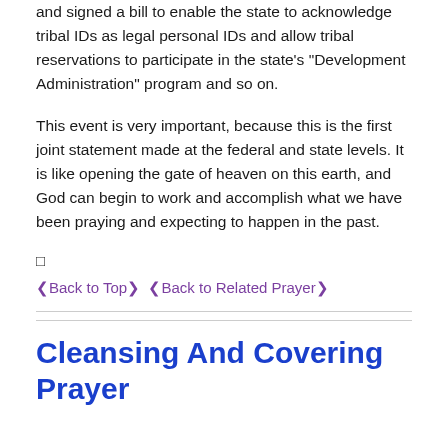and signed a bill to enable the state to acknowledge tribal IDs as legal personal IDs and allow tribal reservations to participate in the state's “Development Administration” program and so on.
This event is very important, because this is the first joint statement made at the federal and state levels. It is like opening the gate of heaven on this earth, and God can begin to work and accomplish what we have been praying and expecting to happen in the past.
□
❮Back to Top❯ ❮Back to Related Prayer❯
Cleansing And Covering Prayer